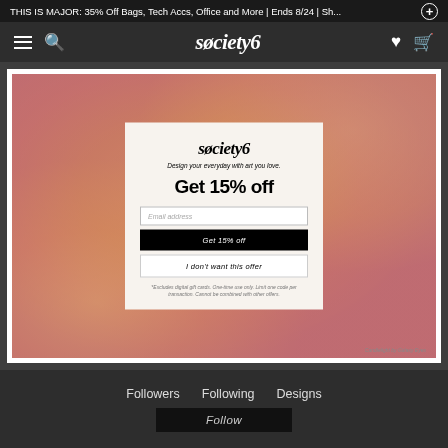THIS IS MAJOR: 35% Off Bags, Tech Accs, Office and More | Ends 8/24 | Sh...
[Figure (screenshot): Society6 website navigation bar with hamburger menu, search icon, Society6 logo, heart and cart icons on dark background]
[Figure (infographic): Society6 promotional popup modal with gradient orange/pink/yellow background. Modal contains Society6 logo, tagline 'Design your everyday with art you love.', 'Get 15% off' heading, email address input field, 'Get 15% off' black button, 'I don't want this offer' outline button, and fine print text about exclusions. Credit text reads 'Candlelight by Galaxy Eyes']
Followers   Following   Designs
Follow